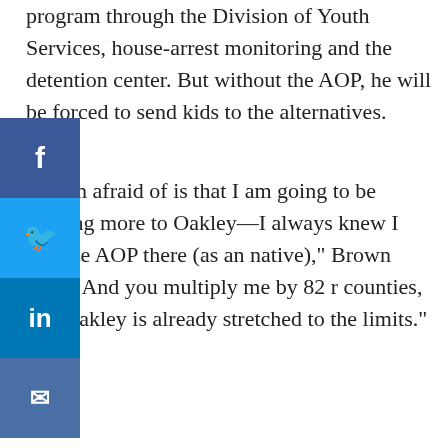program through the Division of Youth Services, house-arrest monitoring and the detention center. But without the AOP, he will be forced to send kids to the alternatives.
at I am afraid of is that I am going to be sending more to Oakley—I always knew I had the AOP there (as an native)," Brown said. "And you multiply me by 82 r counties, and Oakley is already stretched to the limits."
Oakley currently only takes youth who have been adjudicated on felony charges.
Judges and AOPs across the state are hopeful that funding can be found to continue the program. The YMCA's other operations are funded locally through the community, so one of the only ways to keep the AOP program going